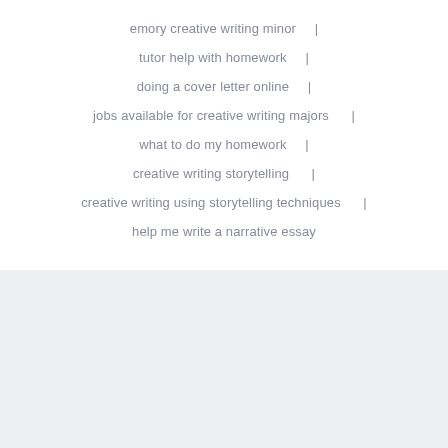emory creative writing minor   |
tutor help with homework   |
doing a cover letter online   |
jobs available for creative writing majors   |
what to do my homework   |
creative writing storytelling   |
creative writing using storytelling techniques   |
help me write a narrative essay